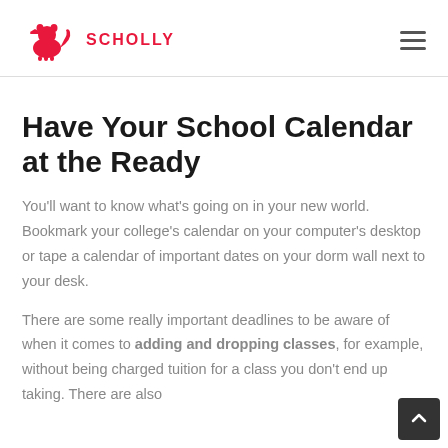SCHOLLY
Have Your School Calendar at the Ready
You'll want to know what's going on in your new world. Bookmark your college's calendar on your computer's desktop or tape a calendar of important dates on your dorm wall next to your desk.
There are some really important deadlines to be aware of when it comes to adding and dropping classes, for example, without being charged tuition for a class you don't end up taking. There are also